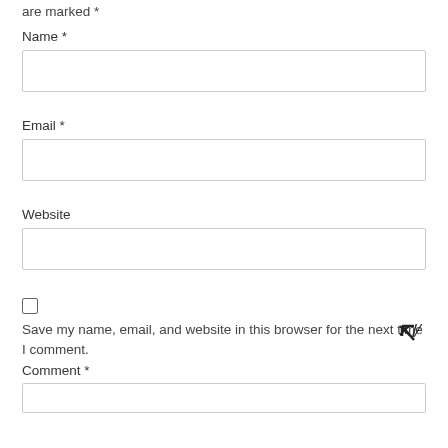are marked *
Name *
[Figure (other): Empty text input box for Name field]
Email *
[Figure (other): Empty text input box for Email field]
Website
[Figure (other): Empty text input box for Website field]
Save my name, email, and website in this browser for the next time I comment.
Comment *
[Figure (other): Empty text input box for Comment field (partially visible)]